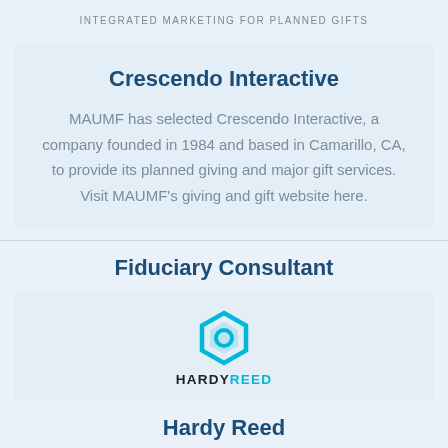INTEGRATED MARKETING FOR PLANNED GIFTS
Crescendo Interactive
MAUMF has selected Crescendo Interactive, a company founded in 1984 and based in Camarillo, CA, to provide its planned giving and major gift services. Visit MAUMF's giving and gift website here.
Fiduciary Consultant
[Figure (logo): HardyReed logo — hexagonal cyan icon above the text HARDYREED in bold, with HARDY in dark/black and REED in cyan]
Hardy Reed